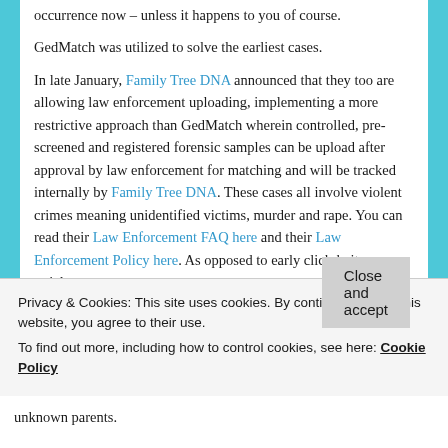occurrence now – unless it happens to you of course.
GedMatch was utilized to solve the earliest cases.
In late January, Family Tree DNA announced that they too are allowing law enforcement uploading, implementing a more restrictive approach than GedMatch wherein controlled, pre-screened and registered forensic samples can be upload after approval by law enforcement for matching and will be tracked internally by Family Tree DNA. These cases all involve violent crimes meaning unidentified victims, murder and rape. You can read their Law Enforcement FAQ here and their Law Enforcement Policy here. As opposed to early click-bait news articles,
Privacy & Cookies: This site uses cookies. By continuing to use this website, you agree to their use.
To find out more, including how to control cookies, see here: Cookie Policy
unknown parents.